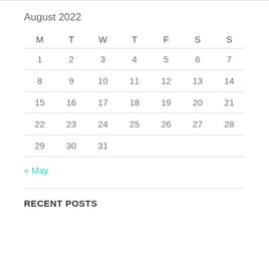August 2022
| M | T | W | T | F | S | S |
| --- | --- | --- | --- | --- | --- | --- |
| 1 | 2 | 3 | 4 | 5 | 6 | 7 |
| 8 | 9 | 10 | 11 | 12 | 13 | 14 |
| 15 | 16 | 17 | 18 | 19 | 20 | 21 |
| 22 | 23 | 24 | 25 | 26 | 27 | 28 |
| 29 | 30 | 31 |  |  |  |  |
« May
RECENT POSTS